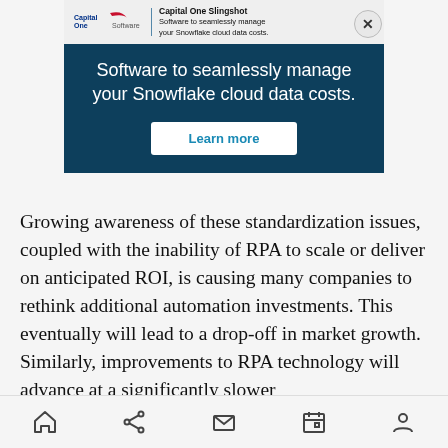[Figure (screenshot): Capital One Software advertisement banner for 'Capital One Slingshot' with tagline 'Software to seamlessly manage your Snowflake cloud data costs.' and a 'Learn more' button on a dark blue background.]
Growing awareness of these standardization issues, coupled with the inability of RPA to scale or deliver on anticipated ROI, is causing many companies to rethink additional automation investments. This eventually will lead to a drop-off in market growth. Similarly, improvements to RPA technology will advance at a significantly slower
[Figure (screenshot): Mobile browser bottom navigation bar with icons for home, share, mail, calendar, and user/profile.]